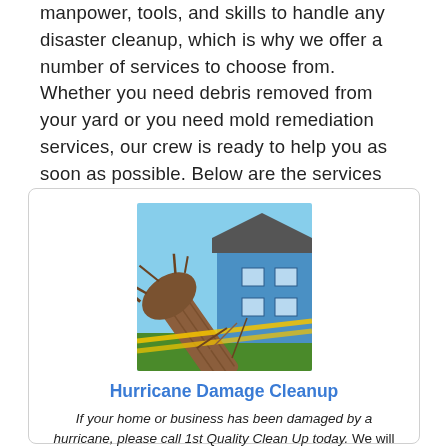manpower, tools, and skills to handle any disaster cleanup, which is why we offer a number of services to choose from. Whether you need debris removed from your yard or you need mold remediation services, our crew is ready to help you as soon as possible. Below are the services that we provide for our Fort Worth and Dallas, TX residents.
[Figure (photo): A large fallen tree on top of a house or structure, with yellow caution tape visible, showing hurricane damage]
Hurricane Damage Cleanup
If your home or business has been damaged by a hurricane, please call 1st Quality Clean Up today. We will clean your home and business and restore it to the way that it was before.